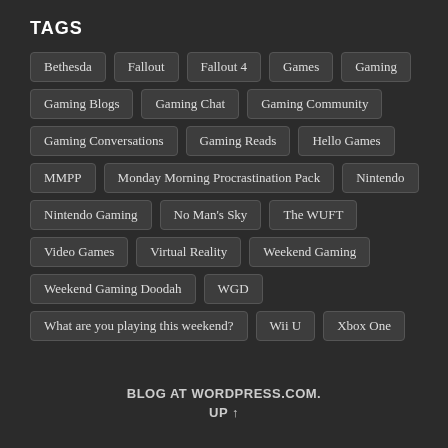TAGS
Bethesda
Fallout
Fallout 4
Games
Gaming
Gaming Blogs
Gaming Chat
Gaming Community
Gaming Conversations
Gaming Reads
Hello Games
MMPP
Monday Morning Procrastination Pack
Nintendo
Nintendo Gaming
No Man's Sky
The WUFT
Video Games
Virtual Reality
Weekend Gaming
Weekend Gaming Doodah
WGD
What are you playing this weekend?
Wii U
Xbox One
BLOG AT WORDPRESS.COM. UP ↑